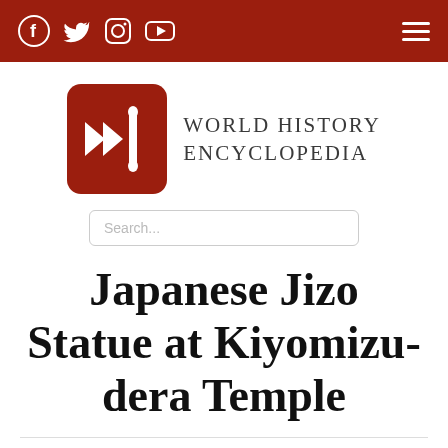World History Encyclopedia — social icons and navigation
[Figure (logo): World History Encyclopedia logo: red rounded square with white arrow and reed symbol, beside text WORLD HISTORY ENCYCLOPEDIA]
Search...
Japanese Jizo Statue at Kiyomizu-dera Temple